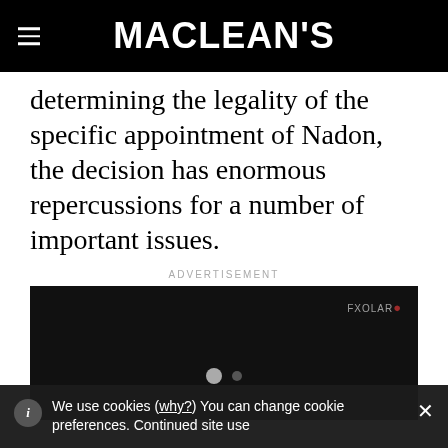MACLEAN'S
determining the legality of the specific appointment of Nadon, the decision has enormous repercussions for a number of important issues.
ADVERTISEMENT
[Figure (screenshot): Dark video player area with a logo watermark in the upper right and two dots indicating a loading or slideshow state in the center.]
We use cookies (why?) You can change cookie preferences. Continued site use